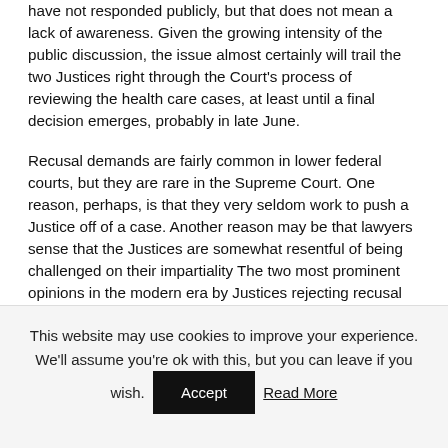have not responded publicly, but that does not mean a lack of awareness.   Given the growing intensity of the public discussion, the issue almost certainly will trail the two Justices right through the Court's process of reviewing the health care cases, at least until a final decision emerges, probably in late June.
Recusal demands are fairly common in lower federal courts, but they are rare in the Supreme Court.   One reason, perhaps, is that they very seldom work to push a Justice off of a case.  Another reason may be that lawyers sense that the Justices are somewhat resentful of being challenged on their impartiality   The two most prominent opinions in the modern era by Justices rejecting recusal demands — by Justice Antonin Scalia in 2004 and by then-Justice William H.
This website may use cookies to improve your experience. We'll assume you're ok with this, but you can leave if you wish.